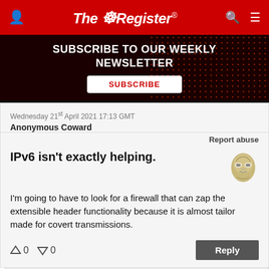The Register
[Figure (screenshot): Subscribe to our weekly newsletter banner advertisement with dark red background and dot pattern. Contains text 'SUBSCRIBE TO OUR WEEKLY NEWSLETTER' and a white Subscribe button.]
Wednesday 21st April 2021 17:13 GMT
Anonymous Coward
Report abuse
IPv6 isn't exactly helping.
I'm going to have to look for a firewall that can zap the extensible header functionality because it is almost tailor made for covert transmissions.
↑0  ↓0   Reply
Thursday 22nd April 2021 09:16 GMT
Chris Hills